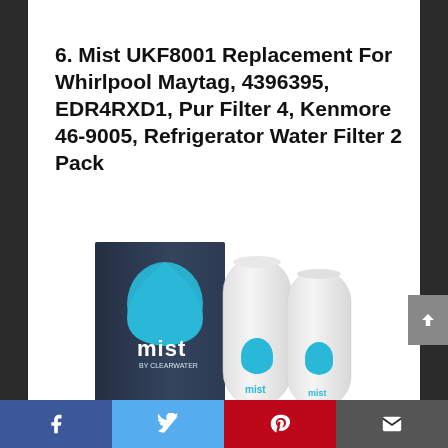6. Mist UKF8001 Replacement For Whirlpool Maytag, 4396395, EDR4RXD1, Pur Filter 4, Kenmore 46-9005, Refrigerator Water Filter 2 Pack
[Figure (photo): Product photo showing Mist brand refrigerator water filters: a dark navy blue box with teal water drop logo and 'mist by Clearwater' branding, alongside two white cylindrical filter cartridges each bearing teal 'mist' logos.]
Social share bar with Facebook, Twitter, Pinterest, and email icons